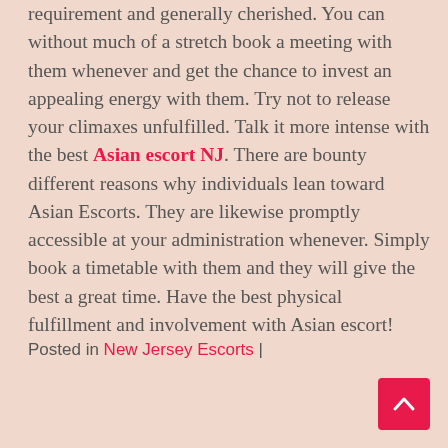requirement and generally cherished. You can without much of a stretch book a meeting with them whenever and get the chance to invest an appealing energy with them. Try not to release your climaxes unfulfilled. Talk it more intense with the best Asian escort NJ. There are bounty different reasons why individuals lean toward Asian Escorts. They are likewise promptly accessible at your administration whenever. Simply book a timetable with them and they will give the best a great time. Have the best physical fulfillment and involvement with Asian escort!
Posted in New Jersey Escorts |